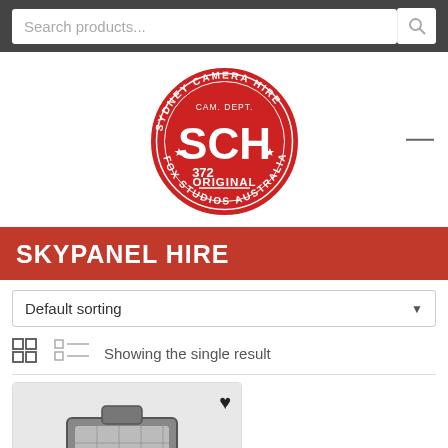Search products...
[Figure (logo): Sydney Camera Hire SCH 372 Original logo — red circular stamp badge with text SYDNEY CAMERA HIRE, CAM. DEPT., SCH, 372, ORIGINAL, FOX STUDIOS AUSTRALIA]
SKYPANEL HIRE
Default sorting
Showing the single result
[Figure (photo): Product image of a skypanel light fixture, partial view, with a heart/wishlist icon]